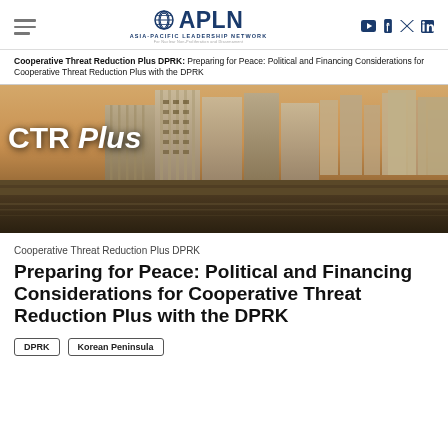APLN Asia-Pacific Leadership Network
Cooperative Threat Reduction Plus DPRK: Preparing for Peace: Political and Financing Considerations for Cooperative Threat Reduction Plus with the DPRK
[Figure (photo): Aerial photo of Pyongyang, North Korea cityscape with large Soviet-style apartment buildings along a river, overlaid with large white italic text reading 'CTR Plus']
Cooperative Threat Reduction Plus DPRK
Preparing for Peace: Political and Financing Considerations for Cooperative Threat Reduction Plus with the DPRK
DPRK
Korean Peninsula